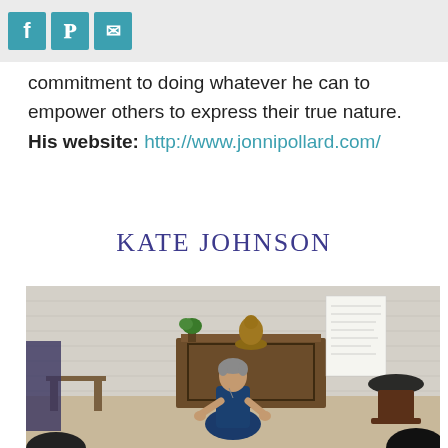[Social share buttons: Facebook, Pinterest, Email]
commitment to doing whatever he can to empower others to express their true nature. His website: http://www.jonnipollard.com/
KATE JOHNSON
[Figure (photo): A woman in a blue outfit sitting on the floor in a meditation/yoga studio with a brick wall background, a Buddha statue on a wooden altar, a plant, a singing bowl, and papers on the wall. The woman is gesturing with her hands.]